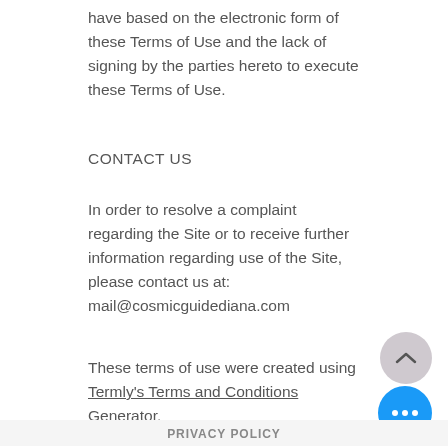have based on the electronic form of these Terms of Use and the lack of signing by the parties hereto to execute these Terms of Use.
CONTACT US
In order to resolve a complaint regarding the Site or to receive further information regarding use of the Site, please contact us at: mail@cosmicguidediana.com
These terms of use were created using Termly's Terms and Conditions Generator.
PRIVACY POLICY